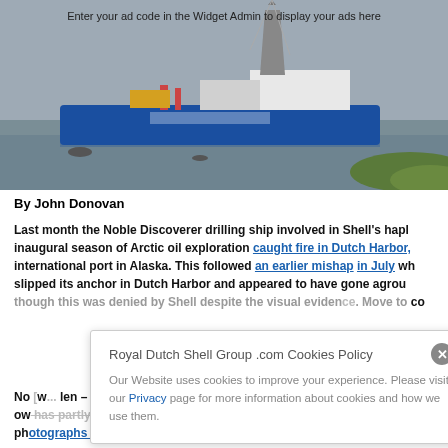[Figure (photo): Oil drilling ship (Noble Discoverer) on water with green shore in foreground, overcast sky. Ad placeholder text overlaid at top.]
Enter your ad code in the Widget Admin to display your ads here
By John Donovan
Last month the Noble Discoverer drilling ship involved in Shell's hapl inaugural season of Arctic oil exploration caught fire in Dutch Harbor, international port in Alaska. This followed an earlier mishap in July wh slipped its anchor in Dutch Harbor and appeared to have gone agrou though this was denied by Shell despite the visual evidence. Move to co
No [cookie popup obscures text] len – a ow [cookie popup obscures text] has partly collapsed. [link] See ph otographs below.
Royal Dutch Shell Group .com Cookies Policy
Our Website uses cookies to improve your experience. Please visit our Privacy page for more information about cookies and how we use them.